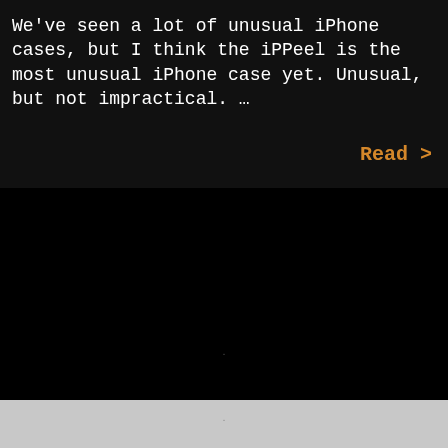We've seen a lot of unusual iPhone cases, but I think the iPPeel is the most unusual iPhone case yet. Unusual, but not impractical. ...
Read >